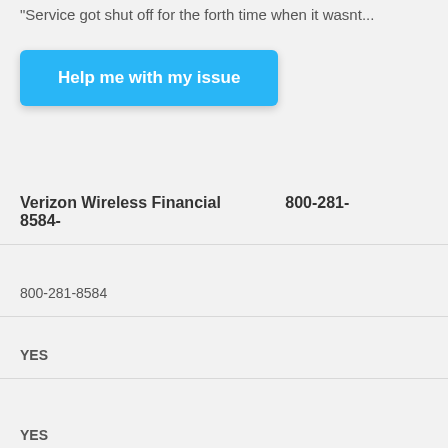"Service got shut off for the forth time when it wasnt...
[Figure (other): Blue button labeled 'Help me with my issue']
Verizon Wireless Financial    800-281-8584-
800-281-8584
YES
NO
YES